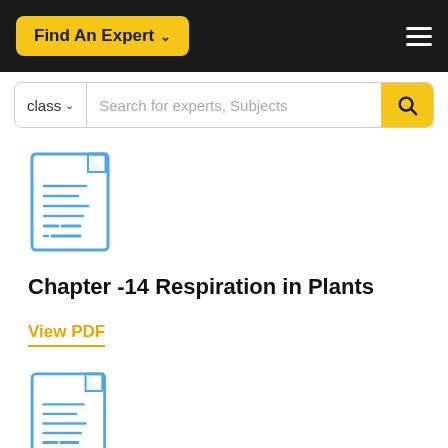Find An Expert  ☰
class  Search for experts, Subjects
[Figure (illustration): Document icon with blue outline and horizontal text lines]
Chapter -14 Respiration in Plants
View PDF
[Figure (illustration): Second document icon with blue outline and horizontal text lines]